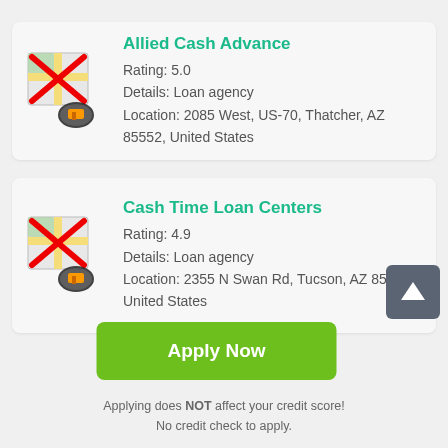[Figure (illustration): Map icon with red X cross overlay and navigation/location pin graphic]
Allied Cash Advance
Rating: 5.0
Details: Loan agency
Location: 2085 West, US-70, Thatcher, AZ 85552, United States
[Figure (illustration): Map icon with red X cross overlay and navigation/location pin graphic]
Cash Time Loan Centers
Rating: 4.9
Details: Loan agency
Location: 2355 N Swan Rd, Tucson, AZ 85712, United States
[Figure (other): Dark grey scroll-to-top button with upward arrow]
Apply Now
Applying does NOT affect your credit score!
No credit check to apply.